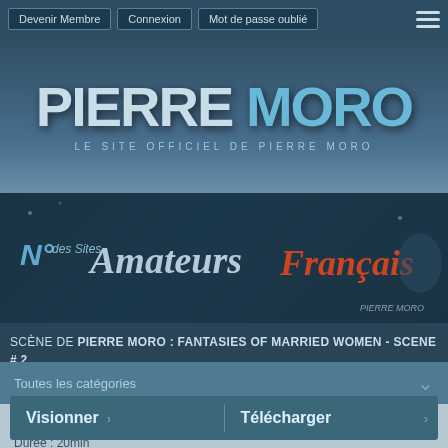Devenir Membre | Connexion | Mot de passe oublié
[Figure (logo): PIERRE MORO logo with tagline LE SITE OFFICIEL DE PIERRE MORO]
[Figure (illustration): N°1 des Sites Amateurs Français banner with Pierre Moro branding]
SCÈNE DE PIERRE MORO : FANTASIES OF MARRIED WOMEN - SCENE # 2
Toutes les catégories
Fantasies of married women - scene # 2
Durée : 20min
Visionner > Télécharger >